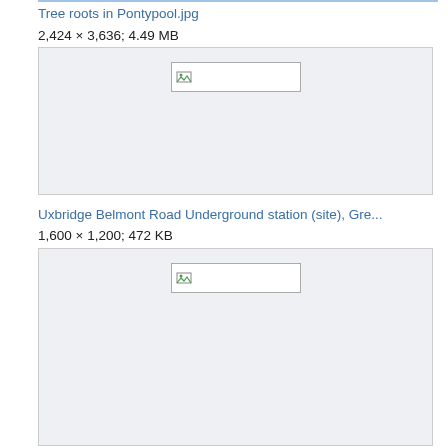Tree roots in Pontypool.jpg
2,424 × 3,636; 4.49 MB
[Figure (photo): Image placeholder box with broken image icon for Tree roots in Pontypool.jpg]
Uxbridge Belmont Road Underground station (site), Gre...
1,600 × 1,200; 472 KB
[Figure (photo): Image placeholder box with broken image icon for Uxbridge Belmont Road Underground station]